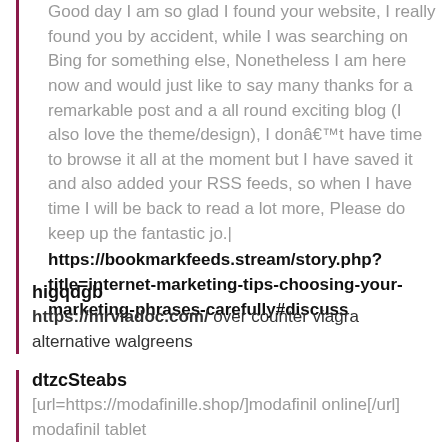Good day I am so glad I found your website, I really found you by accident, while I was searching on Bing for something else, Nonetheless I am here now and would just like to say many thanks for a remarkable post and a all round exciting blog (I also love the theme/design), I donâ€™t have time to browse it all at the moment but I have saved it and also added your RSS feeds, so when I have time I will be back to read a lot more, Please do keep up the fantastic jo.|
https://bookmarkfeeds.stream/story.php?title=internet-marketing-tips-choosing-your-marketing-phrases-carefully#discuss
higqdgb
https://mrviadoc.com/ over counter viagra alternative walgreens
dtzcSteabs
[url=https://modafinille.shop/]modafinil online[/url] modafinil tablet